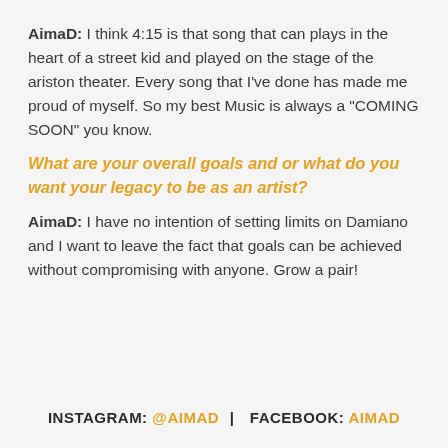AimaD: I think 4:15 is that song that can plays in the heart of a street kid and played on the stage of the ariston theater. Every song that I've done has made me proud of myself. So my best Music is always a "COMING SOON" you know.
What are your overall goals and or what do you want your legacy to be as an artist?
AimaD: I have no intention of setting limits on Damiano and I want to leave the fact that goals can be achieved without compromising with anyone. Grow a pair!
INSTAGRAM: @AIMAD | FACEBOOK: AIMAD